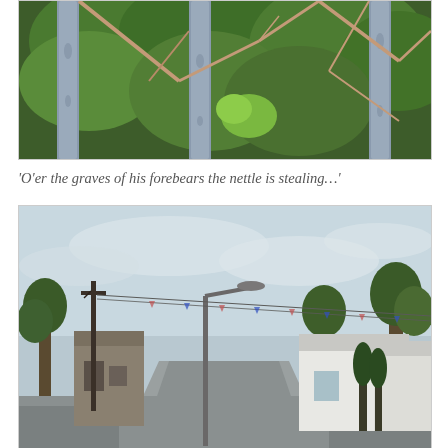[Figure (photo): Close-up photograph of tree trunks with bluish-grey bark surrounded by dense green foliage, branches, and undergrowth in a woodland setting.]
‘O’er the graves of his forebears the nettle is stealing…’
[Figure (photo): Photograph of a village street scene with a lamp post, utility pole, bunting strung across the road, trees, and white and stone-coloured cottages under an overcast sky.]